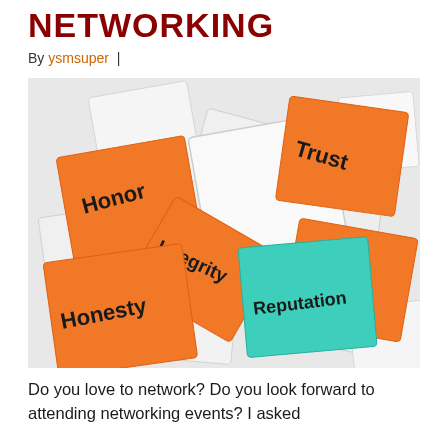NETWORKING
By ysmsuper |
[Figure (illustration): A collection of sticky notes with words Honor, Trust, Integrity, Stature, Honesty, and Reputation (teal) scattered on a white surface]
Do you love to network? Do you look forward to attending networking events? I asked